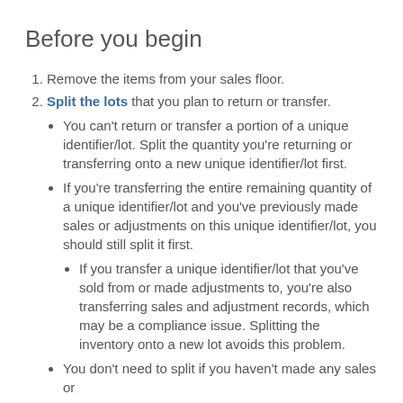Before you begin
1. Remove the items from your sales floor.
2. Split the lots that you plan to return or transfer.
You can't return or transfer a portion of a unique identifier/lot. Split the quantity you're returning or transferring onto a new unique identifier/lot first.
If you're transferring the entire remaining quantity of a unique identifier/lot and you've previously made sales or adjustments on this unique identifier/lot, you should still split it first.
If you transfer a unique identifier/lot that you've sold from or made adjustments to, you're also transferring sales and adjustment records, which may be a compliance issue. Splitting the inventory onto a new lot avoids this problem.
You don't need to split if you haven't made any sales or adjustments on a unique identifier/lot.